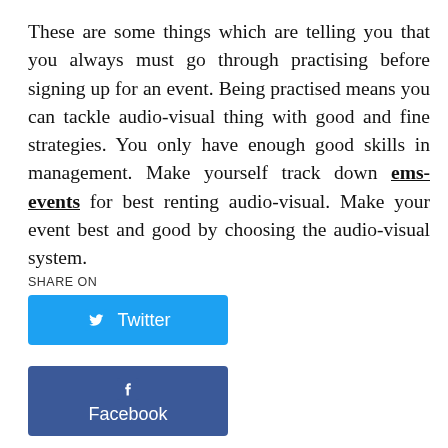These are some things which are telling you that you always must go through practising before signing up for an event. Being practised means you can tackle audio-visual thing with good and fine strategies. You only have enough good skills in management. Make yourself track down ems-events for best renting audio-visual. Make your event best and good by choosing the audio-visual system.
SHARE ON
[Figure (other): Twitter share button — blue rectangle with Twitter bird icon and 'Twitter' text]
[Figure (other): Facebook share button — dark blue rectangle with Facebook 'f' icon and 'Facebook' text]